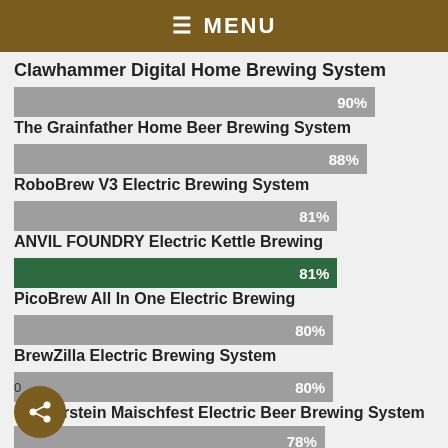≡ MENU
Clawhammer Digital Home Brewing System
[Figure (bar-chart): Brewing System Ratings]
78%